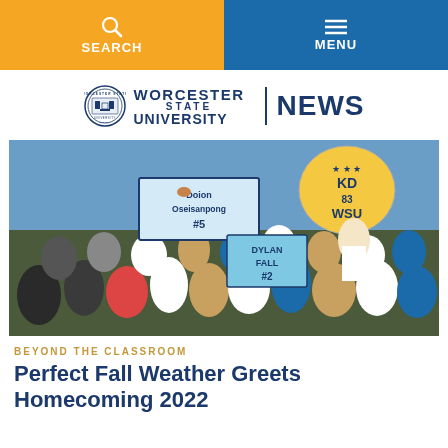SEARCH | MENU
[Figure (logo): Worcester State University NEWS logo with circular seal]
[Figure (photo): Crowd of college students at a sports event holding signs: 'Doion Oseisanpong #5', 'DYLAN FALL #2', and 'KD 83 WSU' against a blue sky backdrop]
BEYOND THE CLASSROOM
Perfect Fall Weather Greets Homecoming 2022